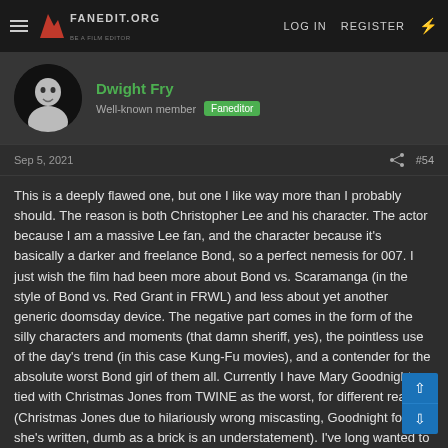FANEDIT.ORG | LOG IN | REGISTER
Dwight Fry
Well-known member  Faneditor
Sep 5, 2021  #54
This is a deeply flawed one, but one I like way more than I probably should. The reason is both Christopher Lee and his character. The actor because I am a massive Lee fan, and the character because it's basically a darker and freelance Bond, so a perfect nemesis for 007. I just wish the film had been more about Bond vs. Scaramanga (in the style of Bond vs. Red Grant in FRWL) and less about yet another generic doomsday device. The negative part comes in the form of the silly characters and moments (that damn sheriff, yes), the pointless use of the day's trend (in this case Kung-Fu movies), and a contender for the absolute worst Bond girl of them all. Currently I have Mary Goodnight tied with Christmas Jones from TWINE as the worst, for different reasons (Christmas Jones due to hilariously wrong miscasting, Goodnight for how she's written, dumb as a brick is an understatement). I've long wanted to fanedit this one. Maybe some day.